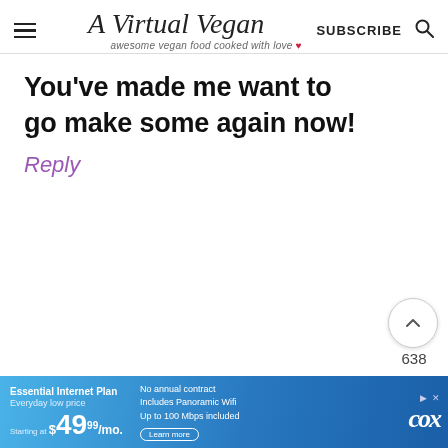A Virtual Vegan — awesome vegan food cooked with love ♥ | SUBSCRIBE | Search
You've made me want to go make some again now!
Reply
638
Su Carlson says
July 16, 2015 at 8:28 am
Essential Internet Plan Everyday low price Starting at $49.99/mo. No annual contract Includes Panoramic Wifi Up to 100 Mbps included Learn more — COX